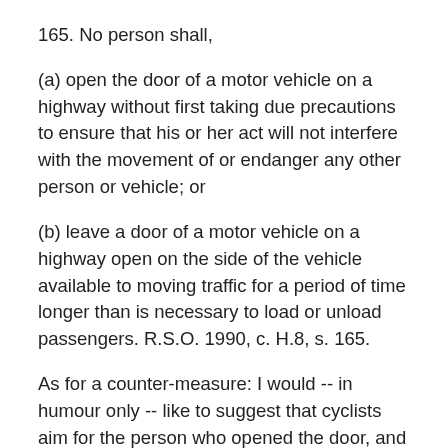165. No person shall,
(a) open the door of a motor vehicle on a highway without first taking due precautions to ensure that his or her act will not interfere with the movement of or endanger any other person or vehicle; or
(b) leave a door of a motor vehicle on a highway open on the side of the vehicle available to moving traffic for a period of time longer than is necessary to load or unload passengers. R.S.O. 1990, c. H.8, s. 165.
As for a counter-measure: I would -- in humour only -- like to suggest that cyclists aim for the person who opened the door, and that the cyclist use their body as a cushion in the inevitable crash.